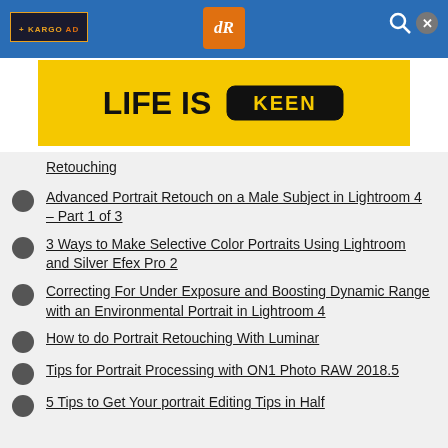+ KARGO AD | dR | search
[Figure (infographic): Yellow advertisement banner reading LIFE IS KEEN]
Retouching
Advanced Portrait Retouch on a Male Subject in Lightroom 4 – Part 1 of 3
3 Ways to Make Selective Color Portraits Using Lightroom and Silver Efex Pro 2
Correcting For Under Exposure and Boosting Dynamic Range with an Environmental Portrait in Lightroom 4
How to do Portrait Retouching With Luminar
Tips for Portrait Processing with ON1 Photo RAW 2018.5
5 Tips to Get Your portrait Editing Tips in Half...